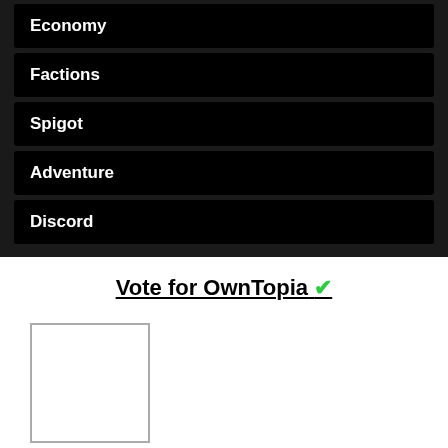Economy
Factions
Spigot
Adventure
Discord
Vote for OwnTopia ✔
[Figure (other): Small empty image placeholder box with gray border]